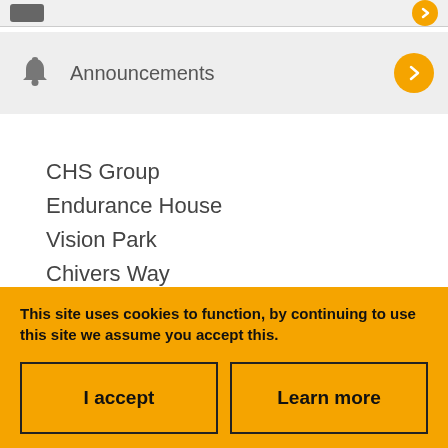[Figure (screenshot): Top navigation bar with grey back button on left and yellow circle button on right]
Announcements
CHS Group
Endurance House
Vision Park
Chivers Way
This site uses cookies to function, by continuing to use this site we assume you accept this.
I accept
Learn more